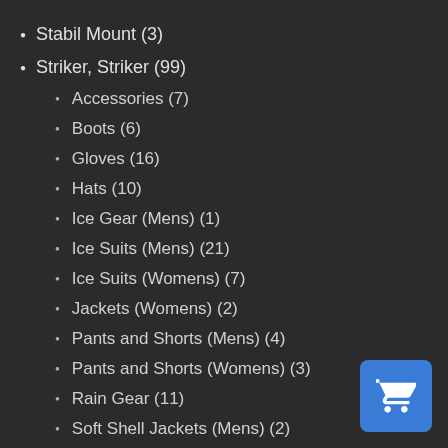Stabil Mount (3)
Striker, Striker (99)
Accessories (7)
Boots (6)
Gloves (16)
Hats (10)
Ice Gear (Mens) (1)
Ice Suits (Mens) (21)
Ice Suits (Womens) (7)
Jackets (Womens) (2)
Pants and Shorts (Mens) (4)
Pants and Shorts (Womens) (3)
Rain Gear (11)
Soft Shell Jackets (Mens) (2)
Youth (9)
[Figure (illustration): Blue shopping cart button icon in the bottom-right corner]